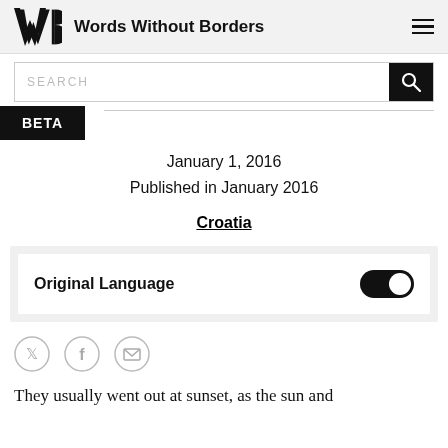Words Without Borders
SEARCH
BETA
January 1, 2016
Published in January 2016
Croatia
Original Language
They usually went out at sunset, as the sun and